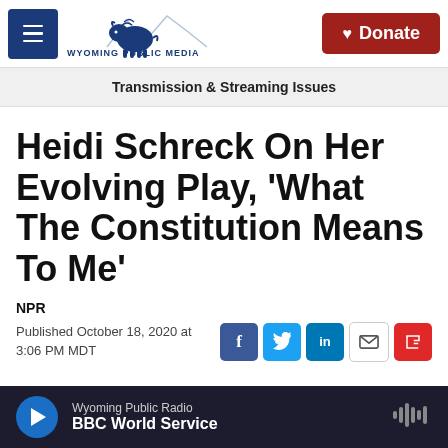Wyoming Public Media | Donate
Transmission & Streaming Issues
Heidi Schreck On Her Evolving Play, 'What The Constitution Means To Me'
NPR
Published October 18, 2020 at 3:06 PM MDT
Wyoming Public Radio | BBC World Service